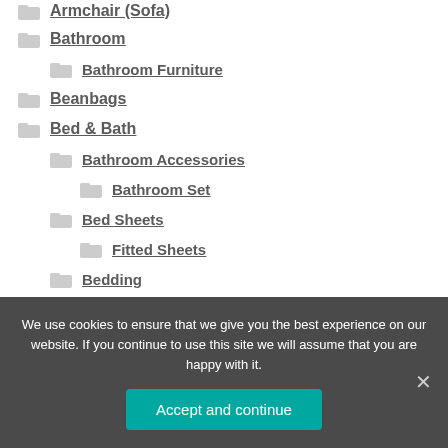Armchair (Sofa)
Bathroom
Bathroom Furniture
Beanbags
Bed & Bath
Bathroom Accessories
Bathroom Set
Bed Sheets
Fitted Sheets
Bedding
We use cookies to ensure that we give you the best experience on our website. If you continue to use this site we will assume that you are happy with it.
Accept and continue